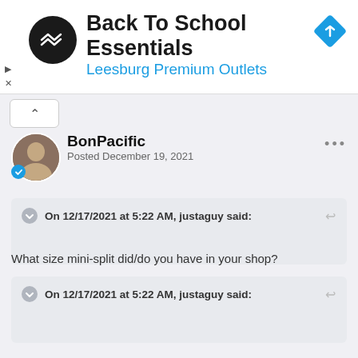[Figure (screenshot): Ad banner for Back To School Essentials at Leesburg Premium Outlets, with a circular logo on left and diamond navigation icon on right]
Back To School Essentials
Leesburg Premium Outlets
BonPacific
Posted December 19, 2021
On 12/17/2021 at 5:22 AM, justaguy said:
What size mini-split did/do you have in your shop?
On 12/17/2021 at 5:22 AM, justaguy said: